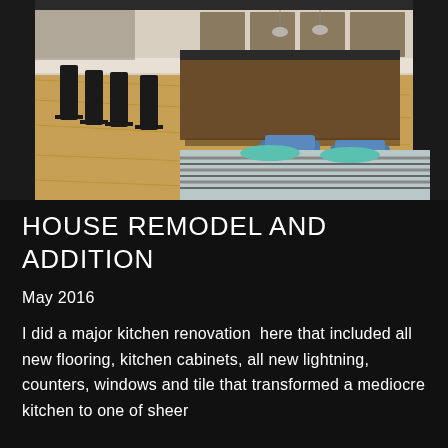[Figure (photo): Interior photo of a renovated kitchen showing a large island with bar stools, hardwood floors, dark cabinetry, and a dining table with a striped tablecloth and blue chairs in the foreground.]
HOUSE REMODEL AND ADDITION
May 2016
I did a major kitchen renovation  here that included all new flooring, kitchen cabinets, all new lightning, counters, windows and tile that transformed a mediocre kitchen to one of sheer